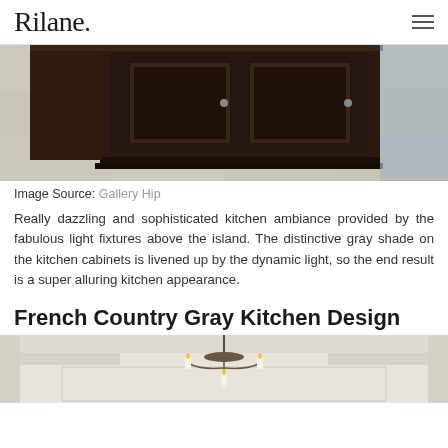Rilane.
[Figure (photo): Close-up photo of a dark walnut kitchen island base with cabinet door and decorative hardware, set on a marble or stone tile floor. Partial view cropped from a larger kitchen scene.]
Image Source: Gallery Hip
Really dazzling and sophisticated kitchen ambiance provided by the fabulous light fixtures above the island. The distinctive gray shade on the kitchen cabinets is livened up by the dynamic light, so the end result is a super alluring kitchen appearance.
French Country Gray Kitchen Design
[Figure (photo): Interior photo of a French country style kitchen or dining area showing a wrought iron chandelier with candle lights hanging from a coffered or tray ceiling with white painted wood details.]